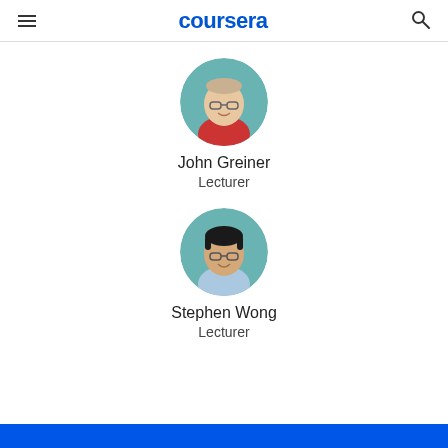coursera
[Figure (photo): Circular profile photo of John Greiner on teal background]
John Greiner
Lecturer
[Figure (photo): Circular profile photo of Stephen Wong on teal background]
Stephen Wong
Lecturer